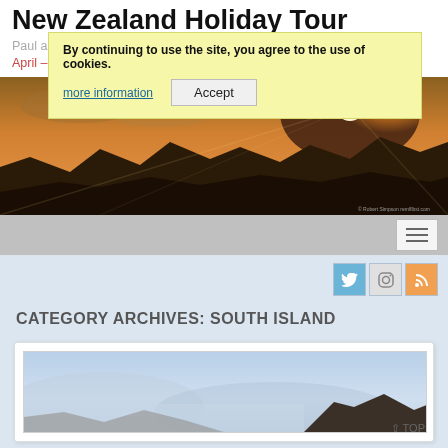New Zealand Holiday Tour
Paul and Pauline's trip to New Zealand, 1st April – 2nd May 2017
By continuing to use the site, you agree to the use of cookies. more information | Accept
[Figure (photo): Panoramic sunset over mountains with golden sky, New Zealand landscape banner]
[Figure (screenshot): Navigation bar with hamburger menu button]
[Figure (screenshot): Social media icons: Twitter, Instagram, RSS]
CATEGORY ARCHIVES: SOUTH ISLAND
[Figure (photo): Partial photo of rocky coastal landscape in South Island New Zealand, with white card background]